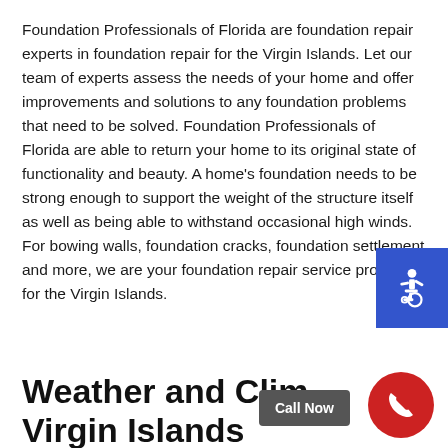Foundation Professionals of Florida are foundation repair experts in foundation repair for the Virgin Islands. Let our team of experts assess the needs of your home and offer improvements and solutions to any foundation problems that need to be solved. Foundation Professionals of Florida are able to return your home to its original state of functionality and beauty. A home's foundation needs to be strong enough to support the weight of the structure itself as well as being able to withstand occasional high winds. For bowing walls, foundation cracks, foundation settlement and more, we are your foundation repair service provider for the Virgin Islands.
[Figure (infographic): Accessibility icon badge in blue square, showing wheelchair symbol in white]
Weather and Climate – Virgin Islands
[Figure (infographic): Call Now button label in dark grey, and red circle phone icon button]